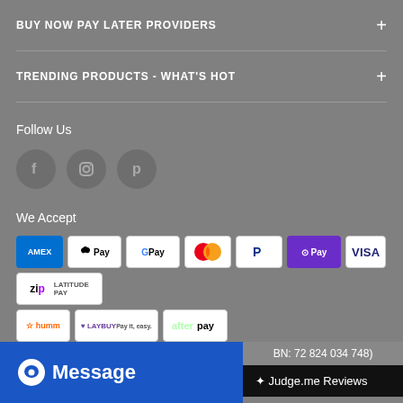BUY NOW PAY LATER PROVIDERS
TRENDING PRODUCTS - WHAT'S HOT
Follow Us
[Figure (illustration): Three social media icon circles: Facebook, Instagram, Pinterest]
We Accept
[Figure (illustration): Payment method logos: Amex, Apple Pay, Google Pay, Mastercard, PayPal, OPay, Visa, Zip/Latitude Pay, humm, Laybuy, Afterpay]
[Figure (illustration): Blue Message button with chat icon]
BN: 72 824 034 748)
Judge.me Reviews